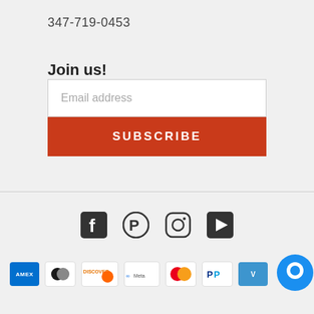347-719-0453
Join us!
Email address
SUBSCRIBE
[Figure (infographic): Social media icons: Facebook, Pinterest, Instagram, YouTube/Play button]
[Figure (infographic): Payment method icons: Amex, Diners Club, Discover, Meta Pay, Mastercard, PayPal, Venmo, plus a chat bubble button]